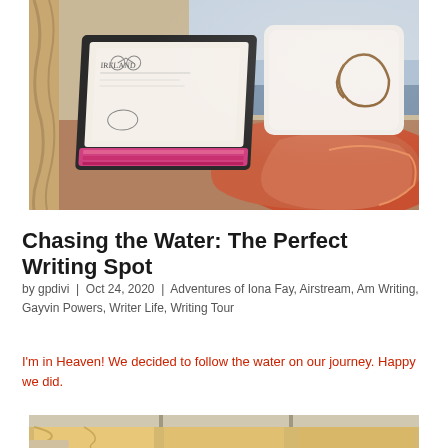[Figure (photo): Photo of a laptop with an open book/document on its screen, sitting on a couch with a white pillow and orange/red blanket. A lake and cloudy sky are visible through a window in the background. The laptop has a pink/magenta keyboard.]
Chasing the Water: The Perfect Writing Spot
by gpdivi | Oct 24, 2020 | Adventures of Iona Fay, Airstream, Am Writing, Gayvin Powers, Writer Life, Writing Tour
I'm in Heaven! We decided to follow the water on our journey. Happy we did.
[Figure (photo): Partial photo of an Airstream interior showing curtains/drapes and interior furniture, partially cut off at the bottom of the page.]